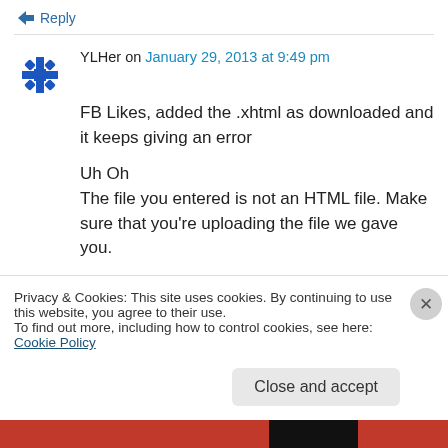↳ Reply
YLHer on January 29, 2013 at 9:49 pm
FB Likes, added the .xhtml as downloaded and it keeps giving an error
Uh Oh
The file you entered is not an HTML file. Make sure that you're uploading the file we gave you.
Glad to see that you brought it back, hope I can
Privacy & Cookies: This site uses cookies. By continuing to use this website, you agree to their use.
To find out more, including how to control cookies, see here: Cookie Policy
Close and accept